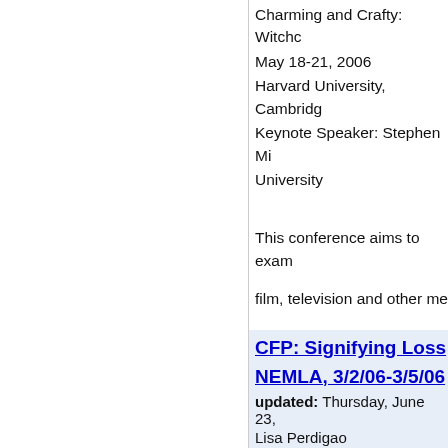Charming and Crafty: Witchc May 18-21, 2006 Harvard University, Cambridg Keynote Speaker: Stephen Mi University
This conference aims to exam film, television and other me topics in an interdisciplinary f sessions will generally compr topics include but are not lim
CFP: Signifying Loss NEMLA, 3/2/06-3/5/06
updated: Thursday, June 23, Lisa Perdigao
Signifying Loss: On...